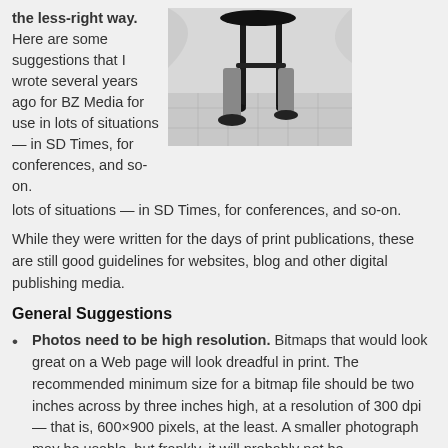the less-right way. Here are some suggestions that I wrote several years ago for BZ Media for use in lots of situations — in SD Times, for conferences, and so-on.
[Figure (photo): Black and white photograph showing the lower portion of a person sitting on a stool, with legs and feet visible against a tiled floor background.]
While they were written for the days of print publications, these are still good guidelines for websites, blog and other digital publishing media.
General Suggestions
Photos need to be high resolution. Bitmaps that would look great on a Web page will look dreadful in print. The recommended minimum size for a bitmap file should be two inches across by three inches high, at a resolution of 300 dpi — that is, 600×900 pixels, at the least. A smaller photograph may be usable, but frankly, it will probably not be.